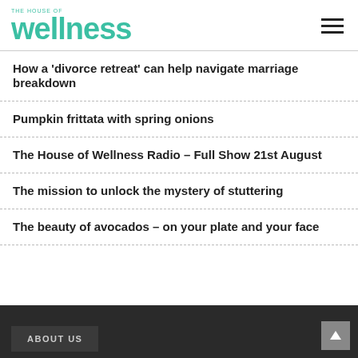THE HOUSE OF wellness
How a ‘divorce retreat’ can help navigate marriage breakdown
Pumpkin frittata with spring onions
The House of Wellness Radio – Full Show 21st August
The mission to unlock the mystery of stuttering
The beauty of avocados – on your plate and your face
ABOUT US